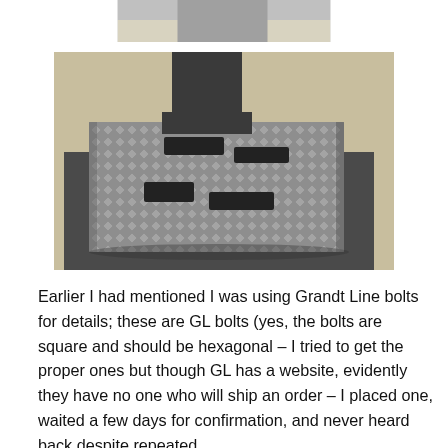[Figure (photo): Partial cropped photo at top of page showing a grey/beige surface, appears to be the top portion of the device shown in the main image below.]
[Figure (photo): Close-up photograph of a scale model or miniature industrial structure featuring a textured diamond-plate metal surface (grey/silver checker pattern) with black cutouts and slots, mounted on a dark grey flat base, set against a beige/tan background.]
Earlier I had mentioned I was using Grandt Line bolts for details; these are GL bolts (yes, the bolts are square and should be hexagonal – I tried to get the proper ones but though GL has a website, evidently they have no one who will ship an order – I placed one, waited a few days for confirmation, and never heard back despite repeated